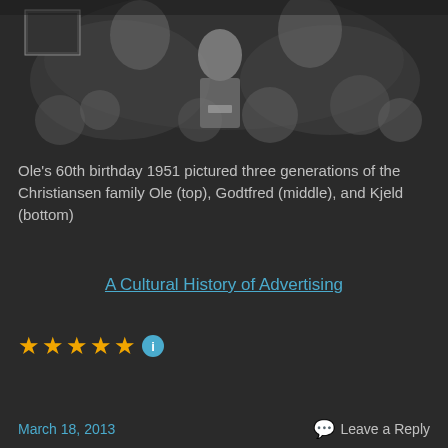[Figure (photo): Black and white photograph showing three generations of the Christiansen family at Ole's 60th birthday in 1951. A child (Kjeld) sits in the center foreground surrounded by flower arrangements, with adults behind.]
Ole's 60th birthday 1951 pictured three generations of the Christiansen family Ole (top), Godtfred (middle), and Kjeld (bottom)
A Cultural History of Advertising
★★★★★ i
March 18, 2013   Leave a Reply